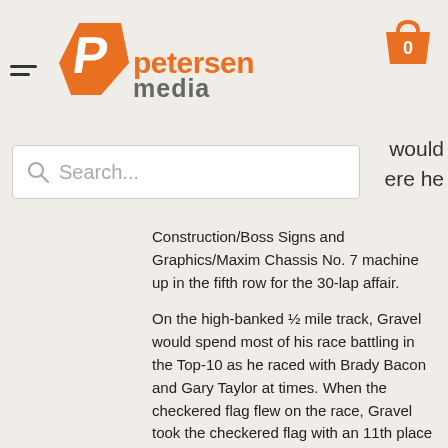[Figure (logo): Petersen Media logo with orange pentagon shape and orange text on light background, with shopping cart icon showing 0]
Search...
Construction/Boss Signs and Graphics/Maxim Chassis No. 7 machine up in the fifth row for the 30-lap affair.
On the high-banked ½ mile track, Gravel would spend most of his race battling in the Top-10 as he raced with Brady Bacon and Gary Taylor at times. When the checkered flag flew on the race, Gravel took the checkered flag with an 11th place finish.
“It was a nice finish, but we all want to be a little better, and I think we will get